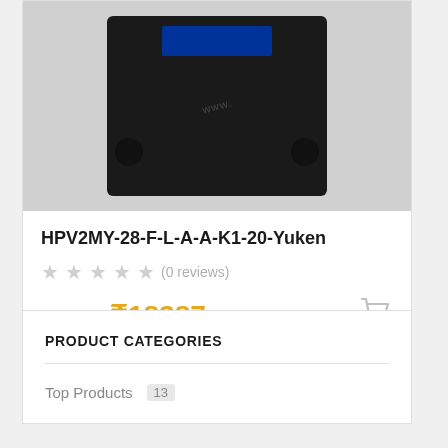[Figure (photo): Black hydraulic pump component (HPV2MY-28-F-L-A-A-K1-20-Yuken) with blue label on top, two round knobs visible, watermark text overlay]
HPV2MY-28-F-L-A-A-K1-20-Yuken
★★★★★ (0 reviews)
₹22287  ₹18387
PRODUCT CATEGORIES
Top Products  13